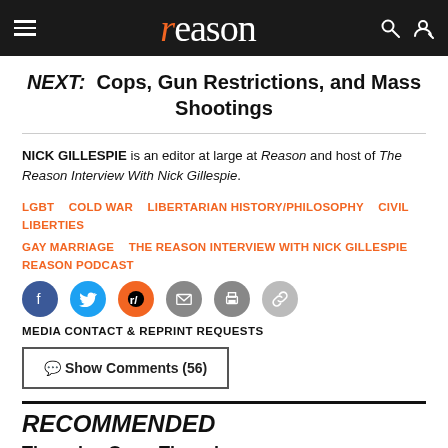reason
NEXT: Cops, Gun Restrictions, and Mass Shootings
NICK GILLESPIE is an editor at large at Reason and host of The Reason Interview With Nick Gillespie.
LGBT  COLD WAR  LIBERTARIAN HISTORY/PHILOSOPHY  CIVIL LIBERTIES  GAY MARRIAGE  THE REASON INTERVIEW WITH NICK GILLESPIE  REASON PODCAST
[Figure (infographic): Social share icons: Facebook, Twitter, Reddit, Email, Print, Link]
MEDIA CONTACT & REPRINT REQUESTS
Show Comments (56)
RECOMMENDED
Thursday Open Thread
Schoolteachers' First Amendment Rights to